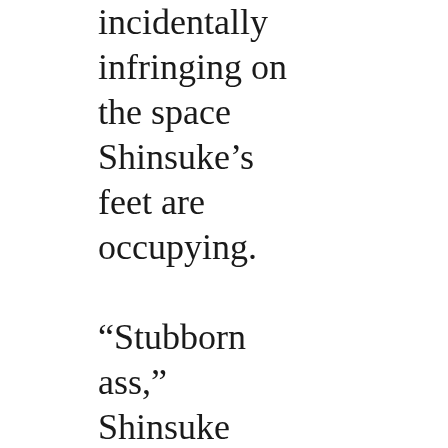incidentally infringing on the space Shinsuke’s feet are occupying.

“Stubborn ass,” Shinsuke informs him, picking the glasses up off the table and setting them down next to